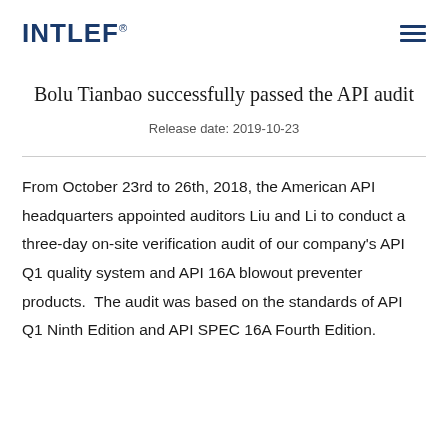INTLEF®
Bolu Tianbao successfully passed the API audit
Release date: 2019-10-23
From October 23rd to 26th, 2018, the American API headquarters appointed auditors Liu and Li to conduct a three-day on-site verification audit of our company's API Q1 quality system and API 16A blowout preventer products.  The audit was based on the standards of API Q1 Ninth Edition and API SPEC 16A Fourth Edition.